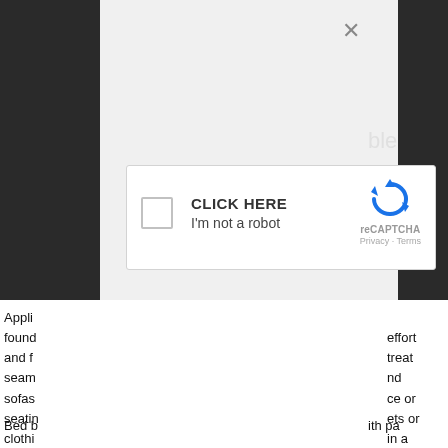[Figure (screenshot): A reCAPTCHA modal overlay on a webpage. The modal has a light gray background with a dark close button (×) in the upper right. Inside the modal is a reCAPTCHA widget box with a checkbox, text 'CLICK HERE / I'm not a robot', the reCAPTCHA circular arrow logo, 'reCAPTCHA' label, and 'Privacy · Terms' links. The sides of the modal show a dark background. Partial text from an underlying article is visible at the bottom of the page.]
Appli
found
and f
seam
sofas
seatin
clothi
dryer
ble
effort
treat
nd
ce or
ets or
in a
Bed b
ith pa